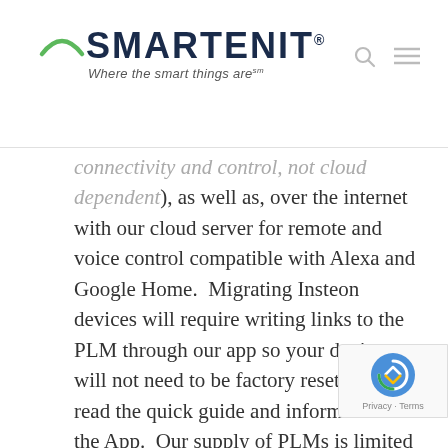[Figure (logo): Smartenit logo with arc above letters and tagline 'Where the smart things are']
connectivity and control, not cloud dependent), as well as, over the internet with our cloud server for remote and voice control compatible with Alexa and Google Home.  Migrating Insteon devices will require writing links to the PLM through our app so your devices will not need to be factory reset.  Please read the quick guide and information on the App.  Our supply of PLMs is limited and we reserve the option of sending a refurbished unit covered by our standard warranty.  We are